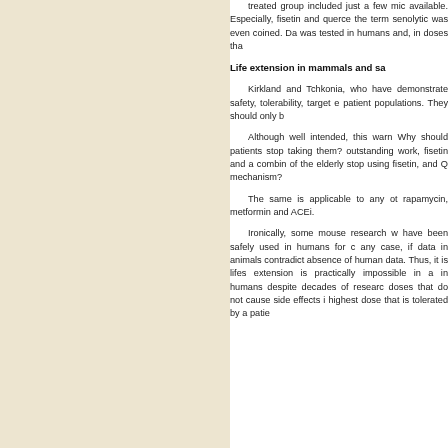treated group included just a few mice available. Especially, fisetin and querce the term senolytic was even coined. Da was tested in humans and, in doses tha
Life extension in mammals and sa
Kirkland and Tchkonia, who have demonstrate safety, tolerability, target e patient populations. They should only b
Although well intended, this warn Why should patients stop taking them? outstanding work, fisetin and a combin of the elderly stop using fisetin, and Q mechanism?
The same is applicable to any ot rapamycin, metformin and ACEi.
Ironically, some mouse research w have been safely used in humans for c any case, if data in animals contradict absence of human data. Thus, it is lifes extension is practically impossible in a in humans despite decades of researc doses that do not cause side effects i highest dose that is tolerated by a patie